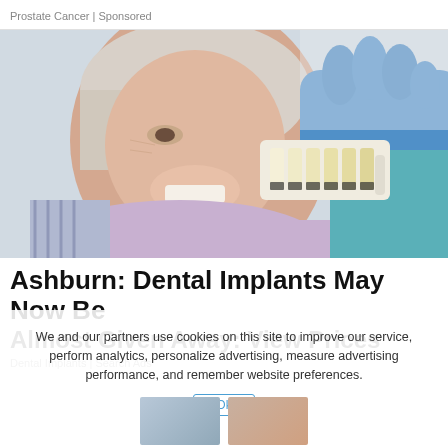Prostate Cancer | Sponsored
[Figure (photo): Elderly woman smiling in dental chair while a gloved dentist holds a dental shade guide near her teeth for color matching]
Ashburn: Dental Implants May Now Be Almost Given Away: View Prices
Dental Implants | Search Ads
We and our partners use cookies on this site to improve our service, perform analytics, personalize advertising, measure advertising performance, and remember website preferences.
Ok